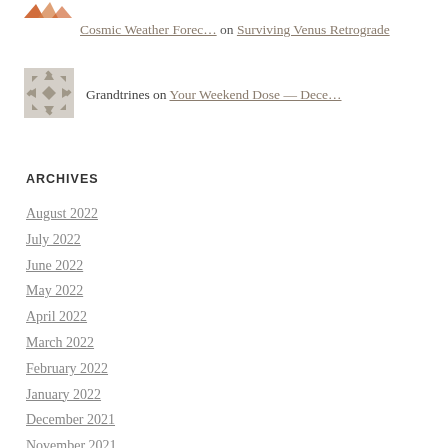[Figure (logo): Orange/red abstract icon (partial, top of page)]
Cosmic Weather Forec… on Surviving Venus Retrograde
[Figure (illustration): Grey pixel/arrow geometric avatar icon]
Grandtrines on Your Weekend Dose — Dece…
ARCHIVES
August 2022
July 2022
June 2022
May 2022
April 2022
March 2022
February 2022
January 2022
December 2021
November 2021